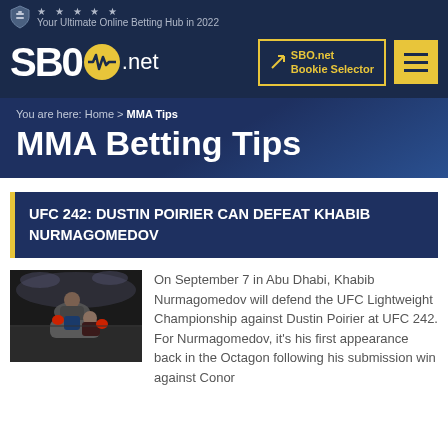★★★★★ Your Ultimate Online Betting Hub in 2022
[Figure (logo): SBO.net logo with shield icon and heartbeat symbol]
SBO.net Bookie Selector
You are here: Home > MMA Tips
MMA Betting Tips
UFC 242: DUSTIN POIRIER CAN DEFEAT KHABIB NURMAGOMEDOV
[Figure (photo): MMA fighters in the octagon, dark arena background]
On September 7 in Abu Dhabi, Khabib Nurmagomedov will defend the UFC Lightweight Championship against Dustin Poirier at UFC 242. For Nurmagomedov, it's his first appearance back in the Octagon following his submission win against Conor